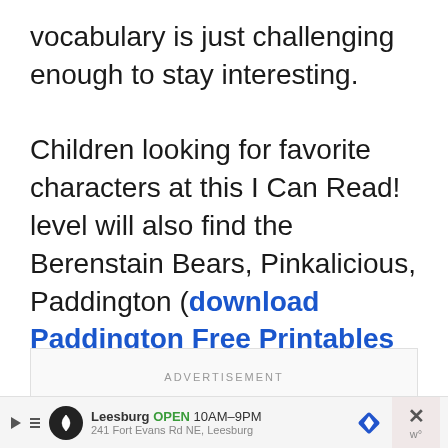vocabulary is just challenging enough to stay interesting.

Children looking for favorite characters at this I Can Read! level will also find the Berenstain Bears, Pinkalicious, Paddington (download Paddington Free Printables here), and Fancy Nancy.
ADVERTISEMENT
Leesburg OPEN 10AM–9PM 241 Fort Evans Rd NE, Leesburg